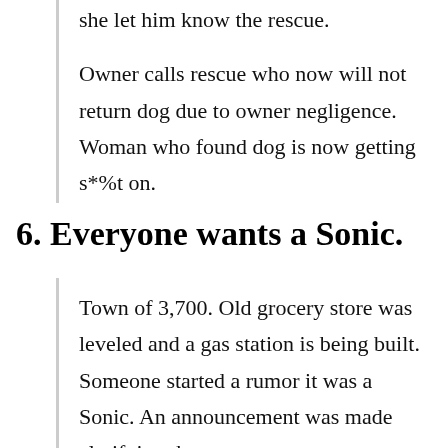she let him know the rescue.
Owner calls rescue who now will not return dog due to owner negligence. Woman who found dog is now getting s*%t on.
6. Everyone wants a Sonic.
Town of 3,700. Old grocery store was leveled and a gas station is being built. Someone started a rumor it was a Sonic. An announcement was made clarifying the new